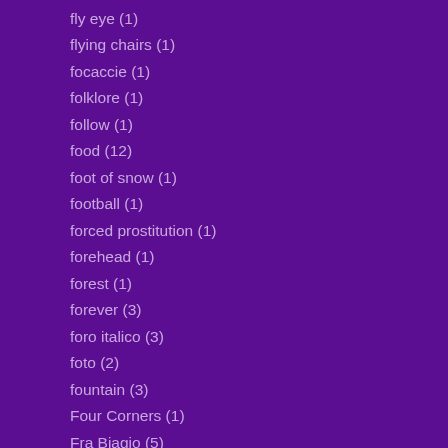fly eye (1)
flying chairs (1)
focaccie (1)
folklore (1)
follow (1)
food (12)
foot of snow (1)
football (1)
forced prostitution (1)
forehead (1)
forest (1)
forever (3)
foro italico (3)
foto (2)
fountain (3)
Four Corners (1)
Fra Biagio (5)
fra biagio conte (6)
fra Biago Conte pace pace missione speranza e carita`